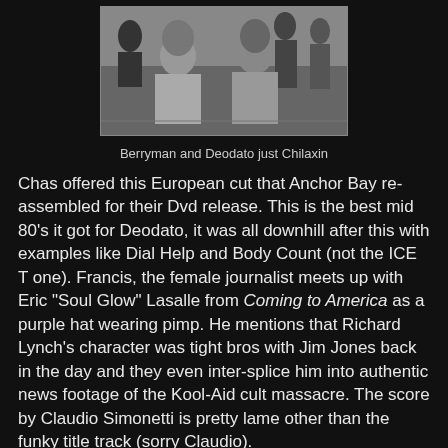[Figure (photo): Black and white photograph of two men sitting outdoors, Berryman and Deodato, with other people visible in the background.]
Berryman and Deodato just Chilaxin
Chas offered this European cut that Anchor Bay re-assembled for their Dvd release. This is the best mid 80's it got for Deodato, it was all downhill after this with examples like Dial Help and Body Count (not the ICE T one). Francis, the female journalist meets up with Eric "Soul Glow" Lasalle from Coming to America as a purple hat wearing pimp. He mentions that Richard Lynch's character was tight bros with Jim Jones back in the day and they even inter-splice him into authentic news footage of the Kool-Aid cult massacre. The score by Claudio Simonetti is pretty lame other than the funky title track (sorry Claudio).